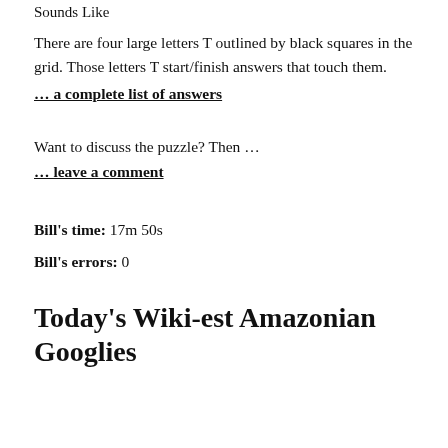Sounds Like
There are four large letters T outlined by black squares in the grid. Those letters T start/finish answers that touch them.
… a complete list of answers
Want to discuss the puzzle? Then …
… leave a comment
Bill's time: 17m 50s
Bill's errors: 0
Today's Wiki-est Amazonian Googlies